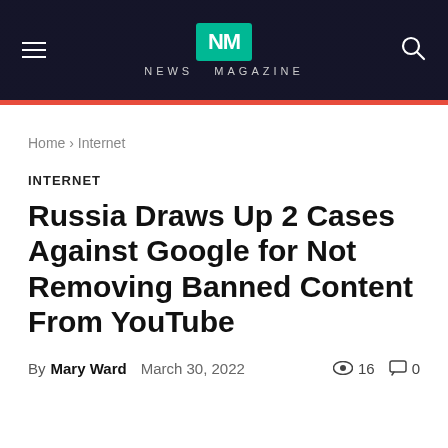NEWS MAGAZINE
Home › Internet
INTERNET
Russia Draws Up 2 Cases Against Google for Not Removing Banned Content From YouTube
By Mary Ward   March 30, 2022   16 views   0 comments